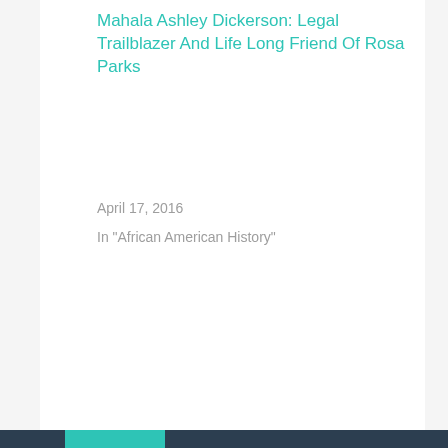Mahala Ashley Dickerson: Legal Trailblazer And Life Long Friend Of Rosa Parks
April 17, 2016
In "African American History"
BlackMail4u
Black Mail posts historical facts, quotes, and events to inspire, educate, and uplift!
April 11, 2016